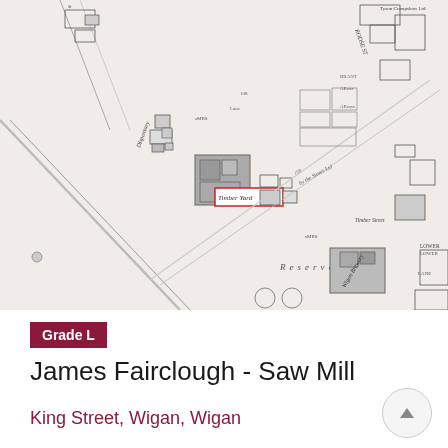[Figure (map): Historical Ordnance Survey style map showing King Street area in Wigan, with buildings, streets, a Dispensary, Reservoir, Wigan Brewery, and a red-boxed highlight labeled 'Timber Yard' at the centre of the map.]
Grade L
James Fairclough - Saw Mill
King Street, Wigan, Wigan